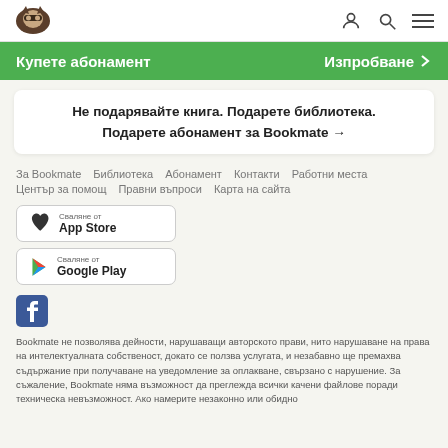[Figure (logo): Bookmate owl logo (masked cat/owl in brown/dark)]
Купете абонамент   Изпробване >
Не подарявайте книга. Подарете библиотека.
Подарете абонамент за Bookmate →
За Bookmate   Библиотека   Абонамент   Контакти   Работни места
Център за помощ   Правни въпроси   Карта на сайта
[Figure (logo): App Store download button with Apple logo]
[Figure (logo): Google Play download button with Play icon]
[Figure (logo): Facebook social icon]
Bookmate не позволява дейности, нарушаващи авторското прави, нито нарушаване на права на интелектуалната собственост, докато се ползва услугата, и незабавно ще премахва съдържание при получаване на уведомление за оплакване, свързано с нарушение. За съжаление, Bookmate няма възможност да преглежда всички качени файлове поради техническа невъзможност. Ако намерите незаконно или обидно